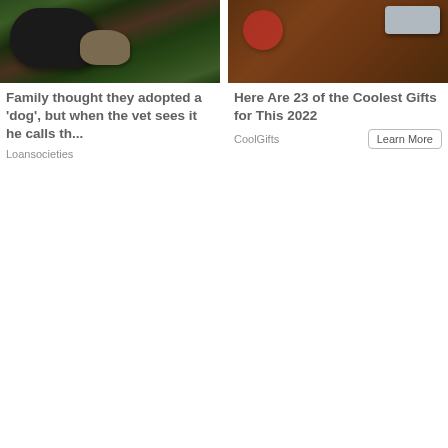[Figure (photo): Black dog or animal sniffing near a rock in green grass]
Family thought they adopted a 'dog', but when the vet sees it he calls th...
Loansocieties
[Figure (photo): Christmas gifts and tools including a multi-tool carabiner on a wooden background with pine cones and candy canes]
Here Are 23 of the Coolest Gifts for This 2022
CoolGifts